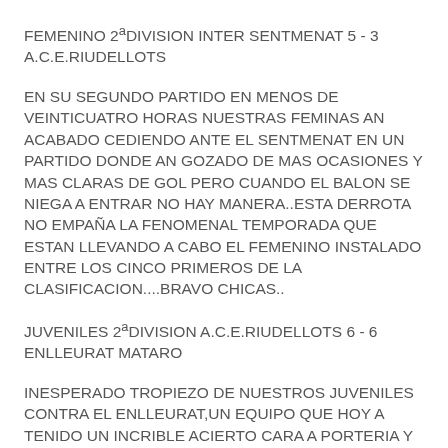FEMENINO 2ªDIVISION INTER SENTMENAT 5 - 3 A.C.E.RIUDELLOTS
EN SU SEGUNDO PARTIDO EN MENOS DE VEINTICUATRO HORAS NUESTRAS FEMINAS AN ACABADO CEDIENDO ANTE EL SENTMENAT EN UN PARTIDO DONDE AN GOZADO DE MAS OCASIONES Y MAS CLARAS DE GOL PERO CUANDO EL BALON SE NIEGA A ENTRAR NO HAY MANERA..ESTA DERROTA NO EMPAÑA LA FENOMENAL TEMPORADA QUE ESTAN LLEVANDO A CABO EL FEMENINO INSTALADO ENTRE LOS CINCO PRIMEROS DE LA CLASIFICACION....BRAVO CHICAS..
JUVENILES 2ªDIVISION A.C.E.RIUDELLOTS 6 - 6 ENLLEURAT MATARO
INESPERADO TROPIEZO DE NUESTROS JUVENILES CONTRA EL ENLLEURAT,UN EQUIPO QUE HOY A TENIDO UN INCRIBLE ACIERTO CARA A PORTERIA Y POR EL CONTRARIO A NUESTROS CHICOS NO LE